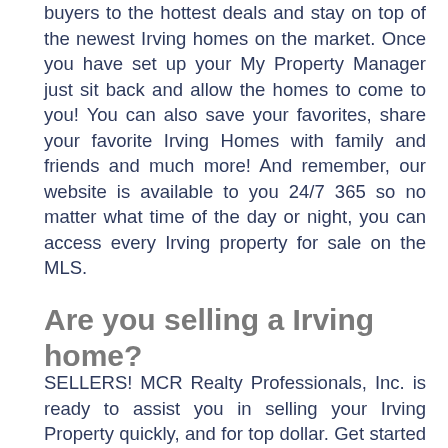buyers to the hottest deals and stay on top of the newest Irving homes on the market. Once you have set up your My Property Manager just sit back and allow the homes to come to you! You can also save your favorites, share your favorite Irving Homes with family and friends and much more! And remember, our website is available to you 24/7 365 so no matter what time of the day or night, you can access every Irving property for sale on the MLS.
Are you selling a Irving home?
SELLERS! MCR Realty Professionals, Inc. is ready to assist you in selling your Irving Property quickly, and for top dollar. Get started by